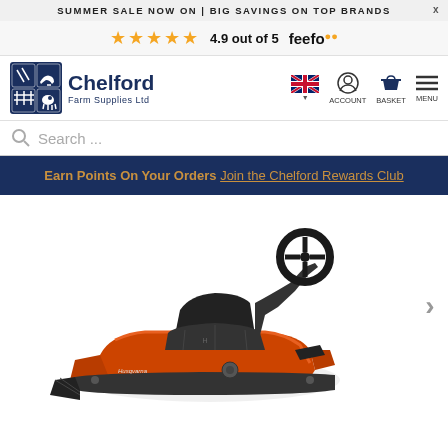SUMMER SALE NOW ON | BIG SAVINGS ON TOP BRANDS
4.9 out of 5 feefo
[Figure (logo): Chelford Farm Supplies Ltd logo with animal and farm imagery]
ACCOUNT BASKET MENU
Search ...
Earn Points On Your Orders Join the Chelford Rewards Club
[Figure (photo): Husqvarna orange riding lawn mower / ride-on mower viewed from front-left angle, showing steering wheel, seat, and mowing deck]